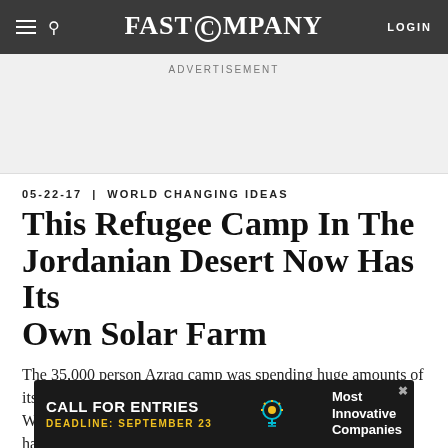FAST COMPANY | LOGIN
ADVERTISEMENT
05-22-17 | WORLD CHANGING IDEAS
This Refugee Camp In The Jordanian Desert Now Has Its Own Solar Farm
The 35,000 person Azraq camp was spending huge amounts of its aid funding on electric bills and only had sporadic power. With a new two-megawatt solar plant, the camp's residents have all the power they
[Figure (infographic): Bottom advertisement banner: dark background with 'CALL FOR ENTRIES' in white bold text, 'DEADLINE: SEPTEMBER 23' in yellow, a light bulb icon, and 'Most Innovative Companies' text on the right. An X close button in the top right corner.]